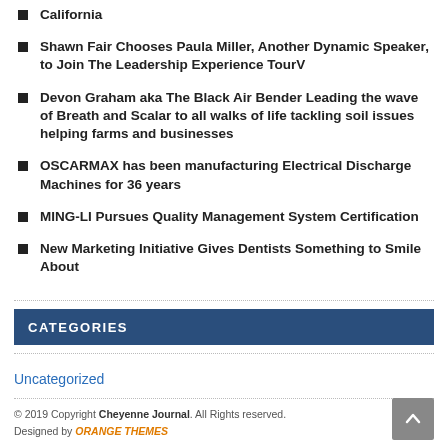California
Shawn Fair Chooses Paula Miller, Another Dynamic Speaker, to Join The Leadership Experience TourV
Devon Graham aka The Black Air Bender Leading the wave of Breath and Scalar to all walks of life tackling soil issues helping farms and businesses
OSCARMAX has been manufacturing Electrical Discharge Machines for 36 years
MING-LI Pursues Quality Management System Certification
New Marketing Initiative Gives Dentists Something to Smile About
CATEGORIES
Uncategorized
© 2019 Copyright Cheyenne Journal. All Rights reserved. Designed by ORANGE THEMES